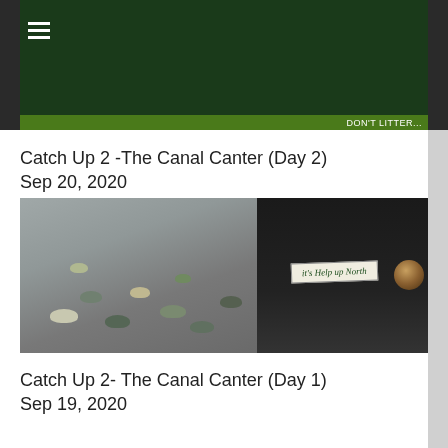[Figure (photo): Top banner with dark green/dark background and a green strip at the bottom showing 'DON'T LITTER...' text, with a hamburger menu icon in the top left]
Catch Up 2 -The Canal Canter (Day 2)
Sep 20, 2020
[Figure (photo): Photo of a canal scene with ducks swimming in water on the left, and a narrowboat on the right with a banner reading 'it's Help up North' and a rope fender visible]
Catch Up 2- The Canal Canter (Day 1)
Sep 19, 2020